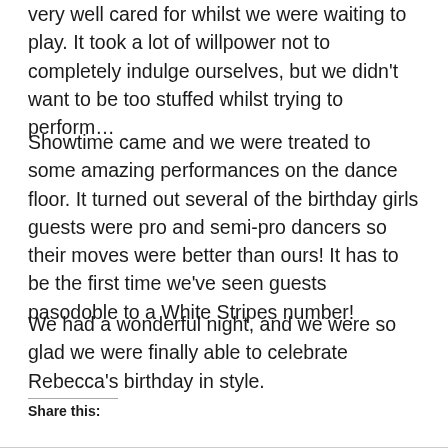very well cared for whilst we were waiting to play. It took a lot of willpower not to completely indulge ourselves, but we didn't want to be too stuffed whilst trying to perform…
Showtime came and we were treated to some amazing performances on the dance floor. It turned out several of the birthday girls guests were pro and semi-pro dancers so their moves were better than ours! It has to be the first time we've seen guests pasodoble to a White Stripes number!
We had a wonderful night, and we were so glad we were finally able to celebrate Rebecca's birthday in style.
Share this: